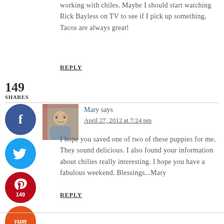working with chiles. Maybe I should start watching Rick Bayless on TV to see if I pick up something, Tacos are always great!
REPLY
149
SHARES
[Figure (logo): Facebook share button circle, dark blue]
[Figure (logo): Twitter share button circle, light blue]
[Figure (logo): Pinterest share button circle, red, shows count 149]
[Figure (photo): Avatar photo of older couple]
[Figure (logo): Yum share button circle, orange]
Mary says
April 27, 2012 at 7:24 pm
I hope you saved one of two of these puppies for me. They sound delicious. I also found your information about chilies really interesting. I hope you have a fabulous weekend. Blessings...Mary
REPLY